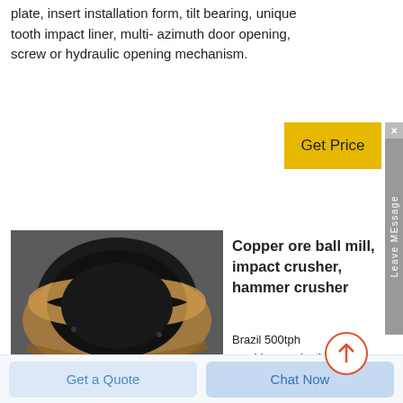plate, insert installation form, tilt bearing, unique tooth impact liner, multi- azimuth door opening, screw or hydraulic opening mechanism.
[Figure (photo): Close-up photo of a large metal ring/bearing component (copper-toned cone crusher mantle or bowl liner) sitting on a dark surface]
Copper ore ball mill, impact crusher, hammer crusher
Brazil 500tph crushing production line. Brazil's crushing production line mainly consists of a mobile jaw crusher, a